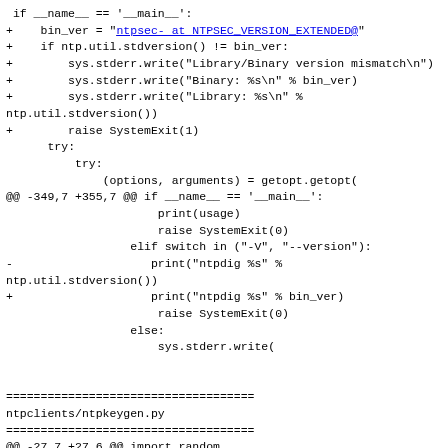if __name__ == '__main__':
+    bin_ver = "ntpsec- at NTPSEC_VERSION_EXTENDED@"
+    if ntp.util.stdversion() != bin_ver:
+        sys.stderr.write("Library/Binary version mismatch\n")
+        sys.stderr.write("Binary: %s\n" % bin_ver)
+        sys.stderr.write("Library: %s\n" % ntp.util.stdversion())
+        raise SystemExit(1)
      try:
          try:
              (options, arguments) = getopt.getopt(
@@ -349,7 +355,7 @@ if __name__ == '__main__':
                      print(usage)
                      raise SystemExit(0)
                  elif switch in ("-V", "--version"):
-                    print("ntpdig %s" % ntp.util.stdversion())
+                    print("ntpdig %s" % bin_ver)
                      raise SystemExit(0)
                  else:
                      sys.stderr.write(


====================================
ntpclients/ntpkeygen.py
====================================
@@ -27,7 +27,6 @@ import random
 import time